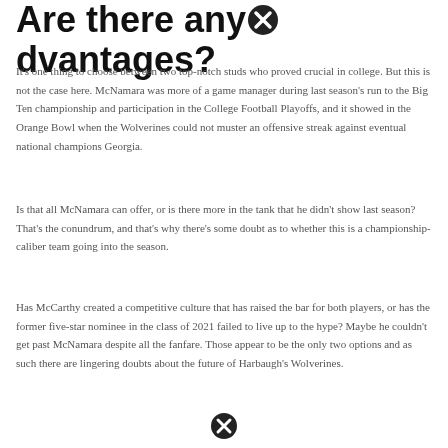Are there any advantages?
It's one thing to choose between two top-notch studs who proved crucial in college. But this is not the case here. McNamara was more of a game manager during last season's run to the Big Ten championship and participation in the College Football Playoffs, and it showed in the Orange Bowl when the Wolverines could not muster an offensive streak against eventual national champions Georgia.
Is that all McNamara can offer, or is there more in the tank that he didn't show last season? That's the conundrum, and that's why there's some doubt as to whether this is a championship-caliber team going into the season.
Has McCarthy created a competitive culture that has raised the bar for both players, or has the former five-star nominee in the class of 2021 failed to live up to the hype? Maybe he couldn't get past McNamara despite all the fanfare. Those appear to be the only two options and as such there are lingering doubts about the future of Harbaugh's Wolverines.